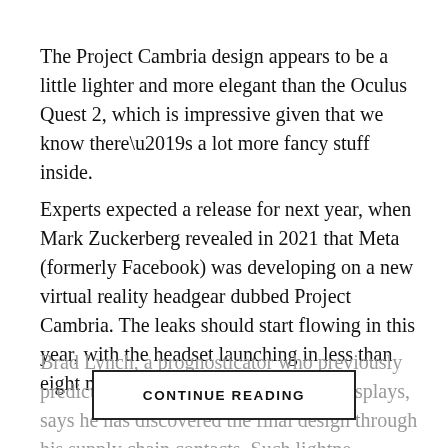The Project Cambria design appears to be a little lighter and more elegant than the Oculus Quest 2, which is impressive given that we know there’s a lot more fancy stuff inside.
Experts expected a release for next year, when Mark Zuckerberg revealed in 2021 that Meta (formerly Facebook) was developing on a new virtual reality headgear dubbed Project Cambria. The leaks should start flowing in this year, with the headset launching in less than eight months.
Brad Lynch, a prognosticator who previously predicted Cambria’s MiniLED displays, says he has discovered the final design through his supply chain contacts. Such lightne…
CONTINUE READING